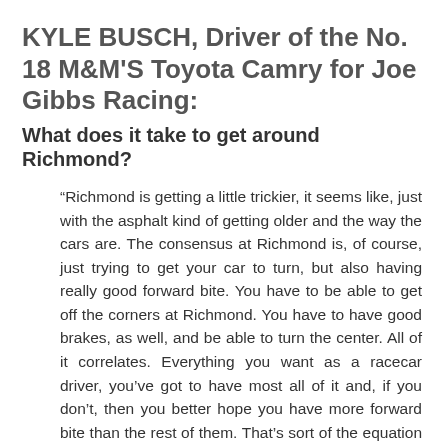KYLE BUSCH, Driver of the No. 18 M&M'S Toyota Camry for Joe Gibbs Racing:
What does it take to get around Richmond?
“Richmond is getting a little trickier, it seems like, just with the asphalt kind of getting older and the way the cars are. The consensus at Richmond is, of course, just trying to get your car to turn, but also having really good forward bite. You have to be able to get off the corners at Richmond. You have to have good brakes, as well, and be able to turn the center. All of it correlates. Everything you want as a racecar driver, you’ve got to have most all of it and, if you don’t, then you better hope you have more forward bite than the rest of them. That’s sort of the equation of Richmond. It’s a fun place to race. It’s really cool. As a driver, you wish it could widen out and give you more options of being able to run around in different